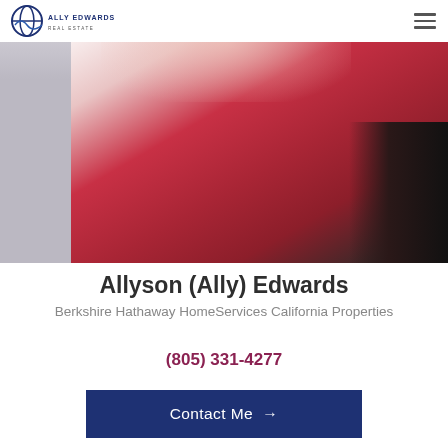Ally Edwards Real Estate
[Figure (photo): Professional headshot of Allyson Edwards wearing a red blazer over a black top, photographed in an indoor setting]
Allyson (Ally) Edwards
Berkshire Hathaway HomeServices California Properties
(805) 331-4277
Contact Me →